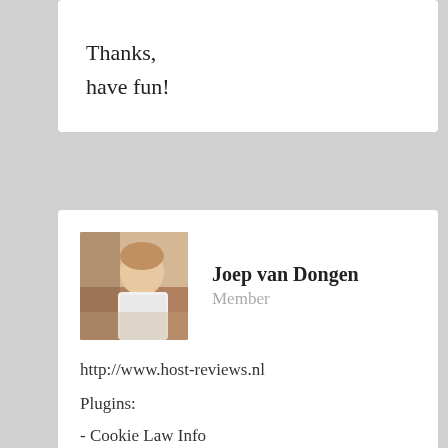Thanks,
have fun!
[Figure (photo): Profile photo of Joep van Dongen]
Joep van Dongen
Member
http://www.host-reviews.nl
Plugins:
- Cookie Law Info
- Domains Checker WPress
- Google XML Sitemaps
- Rich Reviews
- Simple Google Analytics
- Statpress Visitors
- uPricing
- WordPress SEO